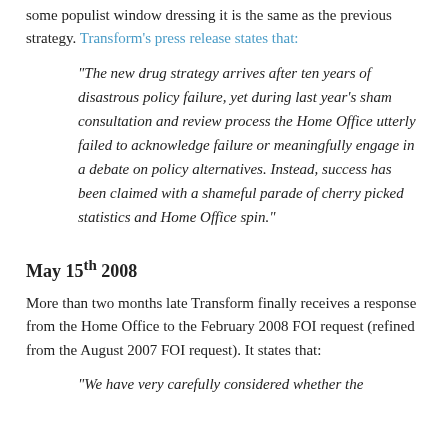some populist window dressing it is the same as the previous strategy. Transform's press release states that:
“The new drug strategy arrives after ten years of disastrous policy failure, yet during last year’s sham consultation and review process the Home Office utterly failed to acknowledge failure or meaningfully engage in a debate on policy alternatives. Instead, success has been claimed with a shameful parade of cherry picked statistics and Home Office spin.”
May 15th 2008
More than two months late Transform finally receives a response from the Home Office to the February 2008 FOI request (refined from the August 2007 FOI request). It states that:
“We have very carefully considered whether the